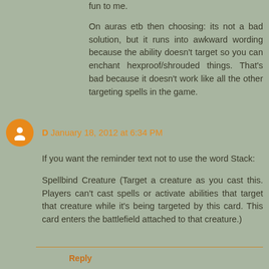fun to me.
On auras etb then choosing: its not a bad solution, but it runs into awkward wording because the ability doesn't target so you can enchant hexproof/shrouded things. That's bad because it doesn't work like all the other targeting spells in the game.
D January 18, 2012 at 6:34 PM
If you want the reminder text not to use the word Stack:
Spellbind Creature (Target a creature as you cast this. Players can't cast spells or activate abilities that target that creature while it's being targeted by this card. This card enters the battlefield attached to that creature.)
Reply